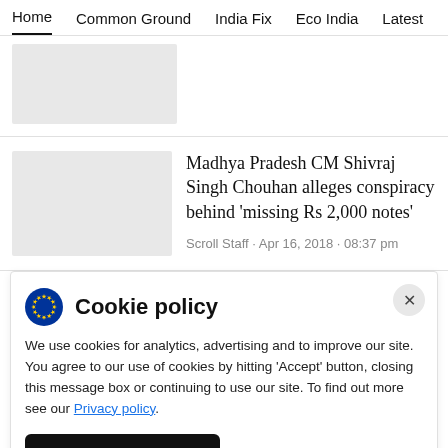Home  Common Ground  India Fix  Eco India  Latest  Th
[Figure (photo): Gray placeholder thumbnail image]
Madhya Pradesh CM Shivraj Singh Chouhan alleges conspiracy behind ‘missing Rs 2,000 notes’
Scroll Staff · Apr 16, 2018 · 08:37 pm
Cookie policy
We use cookies for analytics, advertising and to improve our site. You agree to our use of cookies by hitting ‘Accept’ button, closing this message box or continuing to use our site. To find out more see our Privacy policy.